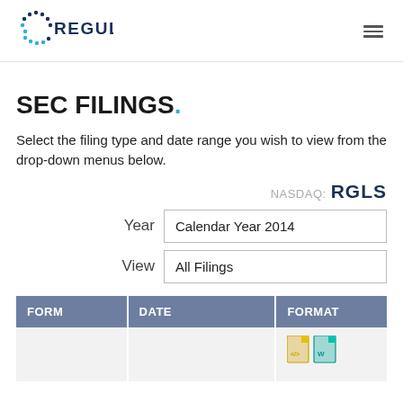REGULUS
SEC FILINGS.
Select the filing type and date range you wish to view from the drop-down menus below.
NASDAQ: RGLS
Year  Calendar Year 2014
View  All Filings
| FORM | DATE | FORMAT |
| --- | --- | --- |
|  |  |  |